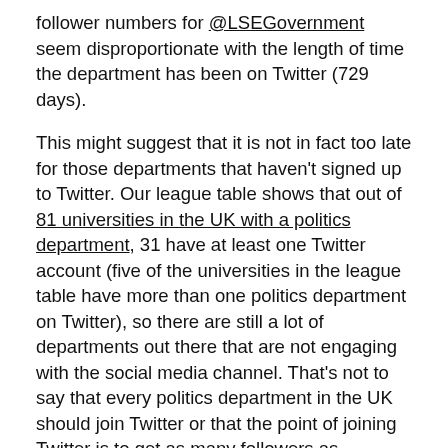follower numbers for @LSEGovernment seem disproportionate with the length of time the department has been on Twitter (729 days).
This might suggest that it is not in fact too late for those departments that haven't signed up to Twitter. Our league table shows that out of 81 universities in the UK with a politics department, 31 have at least one Twitter account (five of the universities in the league table have more than one politics department on Twitter), so there are still a lot of departments out there that are not engaging with the social media channel. That's not to say that every politics department in the UK should join Twitter or that the point of joining Twitter is to get as many followers as possible. As we have already pointed out, the way in which a department uses Twitter will affect the number of followers it is likely to get. However, if the aim of social science is to engage with society, then it seems many politics departments are